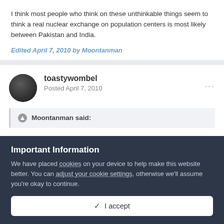I think most people who think on these unthinkable things seem to think a real nuclear exchange on population centers is most likely between Pakistan and India.
Edited April 7, 2010 by Moontanman
toastywombel
Posted April 7, 2010
Moontanman said:
Important Information
We have placed cookies on your device to help make this website better. You can adjust your cookie settings, otherwise we'll assume you're okay to continue.
I accept